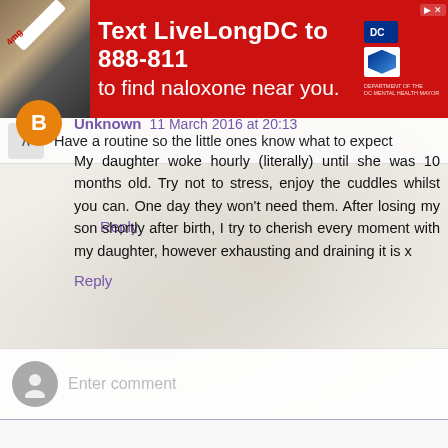[Figure (infographic): Red advertisement banner: Text LiveLongDC to 888-811 to find naloxone near you. DC and DBH logos on right.]
Have a routine so the little ones know what to expect
Reply
Unknown 11 March 2016 at 20:13
My daughter woke hourly (literally) until she was 10 months old. Try not to stress, enjoy the cuddles whilst you can. One day they won't need them. After losing my son shortly after birth, I try to cherish every moment with my daughter, however exhausting and draining it is x
Reply
Enter comment